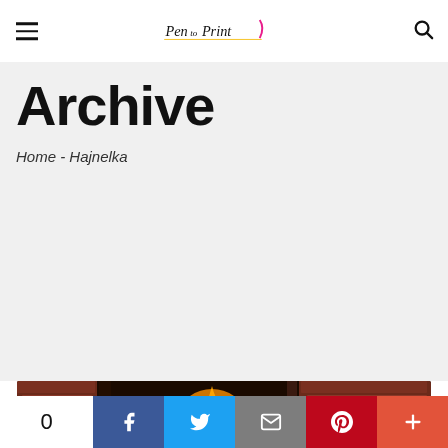Pen to Print [logo] — navigation header with hamburger menu and search icon
Archive
Home - Hajnelka
[Figure (photo): A fireplace with flames burning, brick walls visible on both sides, and a decorative object on the right side]
0 | f | Twitter | Email | Pinterest | +